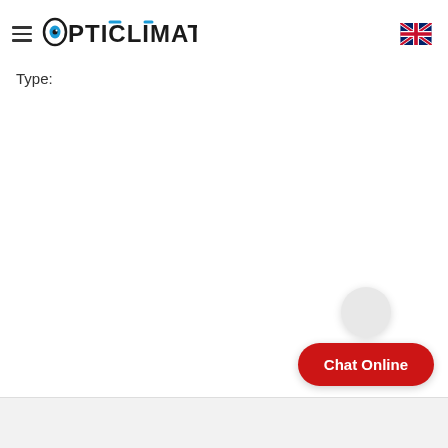OPTICLIMATE
Type:
[Figure (screenshot): Chat Online button widget with circular icon above a red pill-shaped button labeled 'Chat Online']